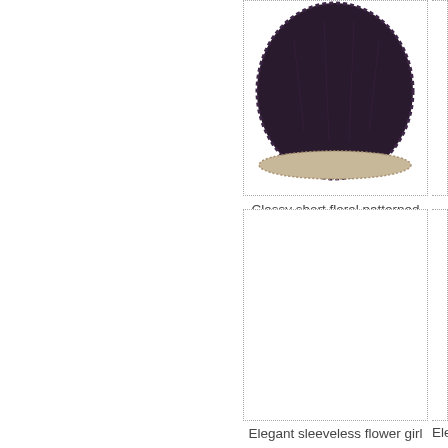[Figure (photo): Dark plum/purple short floral patterned girl dress with lace trim at hem, bottom portion visible]
Classy short floral patterned girl dress
Plum
C1074 NEW!
$52.50
Organ
[Figure (photo): Elegant sleeveless flower girl dress, image area shown as white/empty box]
Elegant sleeveless flower girl dress
Eleg